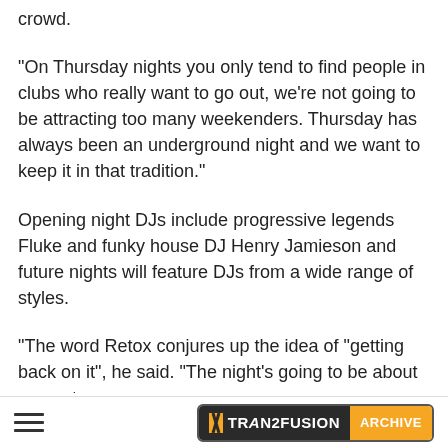crowd.
"On Thursday nights you only tend to find people in clubs who really want to go out, we're not going to be attracting too many weekenders. Thursday has always been an underground night and we want to keep it in that tradition."
Opening night DJs include progressive legends Fluke and funky house DJ Henry Jamieson and future nights will feature DJs from a wide range of styles.
"The word Retox conjures up the idea of "getting back on it", he said. "The night's going to be about computer
≡  TRANZFUSION ARCHIVE